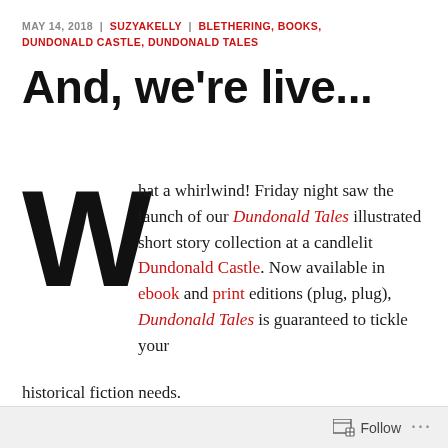MAY 14, 2018 | SUZYAKELLY | BLETHERING, BOOKS, DUNDONALD CASTLE, DUNDONALD TALES
And, we're live...
What a whirlwind! Friday night saw the launch of our Dundonald Tales illustrated short story collection at a candlelit Dundonald Castle. Now available in ebook and print editions (plug, plug), Dundonald Tales is guaranteed to tickle your historical fiction needs.
Follow